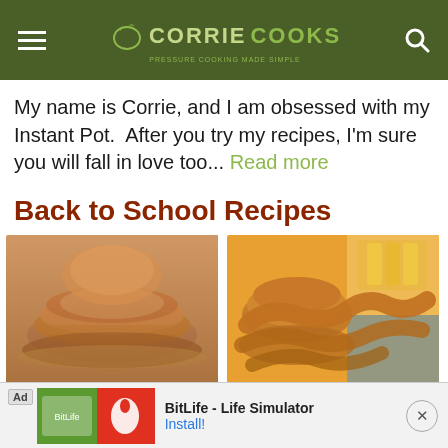CORRIE COOKS
My name is Corrie, and I am obsessed with my Instant Pot.  After you try my recipes, I'm sure you will fall in love too... Read more
Back to School Recipes
[Figure (photo): Stack of pancakes topped with syrup on a plate]
[Figure (photo): Fried chicken strips and onion rings on a plate with waffle fries]
[Figure (screenshot): Ad banner for BitLife - Life Simulator app with Install button]